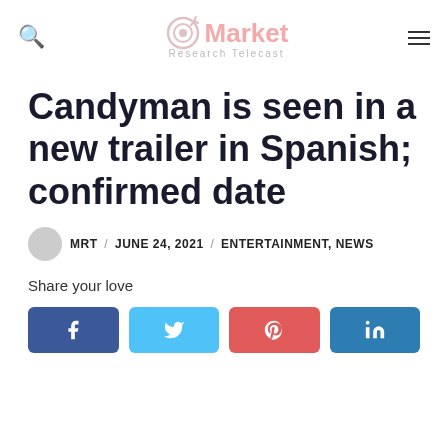Market Research Telecast
Candyman is seen in a new trailer in Spanish; confirmed date
MRT / JUNE 24, 2021 / ENTERTAINMENT, NEWS
Share your love
[Figure (other): Social share buttons: Facebook, Twitter, Pinterest, LinkedIn]